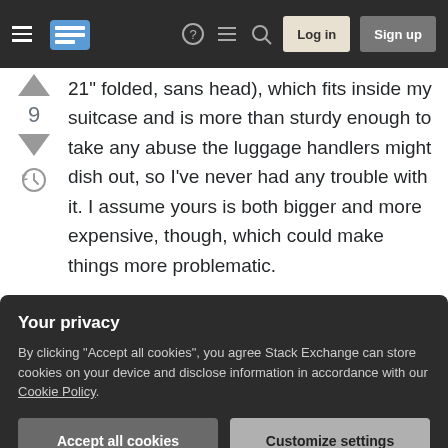Stack Exchange navigation bar with hamburger menu, logo, help, chat, search icons, Log in and Sign up buttons
21" folded, sans head), which fits inside my suitcase and is more than sturdy enough to take any abuse the luggage handlers might dish out, so I've never had any trouble with it. I assume yours is both bigger and more expensive, though, which could make things more problematic.
That said, I've had similar issues flying to a conference with a rolled-up poster (basically, a cardboard tube about 1 meter long), and my advice for that is simple: ask at check-in. They may be OK
Your privacy
By clicking "Accept all cookies", you agree Stack Exchange can store cookies on your device and disclose information in accordance with our Cookie Policy.
Accept all cookies  Customize settings
checked luggage, and was paranoid about it getting